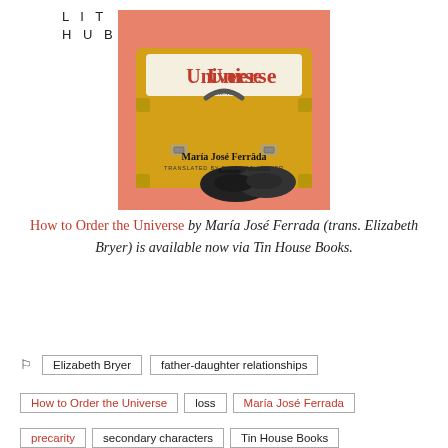LIT HUB
[Figure (illustration): Book cover of 'How to Order the Universe' by María José Ferrada, translated by Elizabeth Bryer. Shows a yellow suitcase open against a coral/orange background with a pair of black Mary Jane shoes.]
How to Order the Universe by María José Ferrada (trans. Elizabeth Bryer) is available now via Tin House Books.
Elizabeth Bryer
father-daughter relationships
How to Order the Universe
loss
María José Ferrada
precarity
secondary characters
Tin House Books